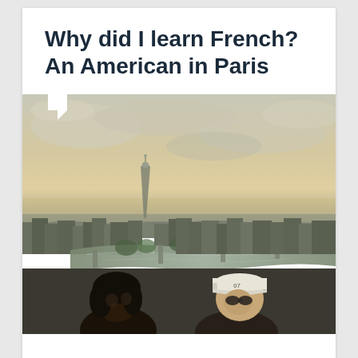Why did I learn French? An American in Paris
[Figure (photo): Aerial panoramic photograph of Paris showing the Seine river winding through the city with bridges, buildings, and the Eiffel Tower visible in the background under a cloudy sunset sky. Two people (an American couple) are visible in the foreground bottom of the image.]